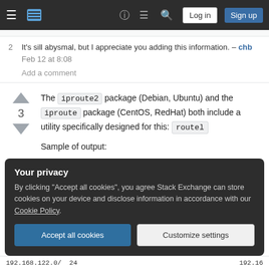Stack Exchange navigation bar with hamburger menu, logo, help, chat, search icons, Log in and Sign up buttons
2  It's sill abysmal, but I appreciate you adding this information. – chb Feb 12 at 8:08
Add a comment
The iproute2 package (Debian, Ubuntu) and the iproute package (CentOS, RedHat) both include a utility specifically designed for this: routel
Sample of output:
Your privacy
By clicking "Accept all cookies", you agree Stack Exchange can store cookies on your device and disclose information in accordance with our Cookie Policy.
Accept all cookies  Customize settings
192.168.122.0/  24                                                    192.16